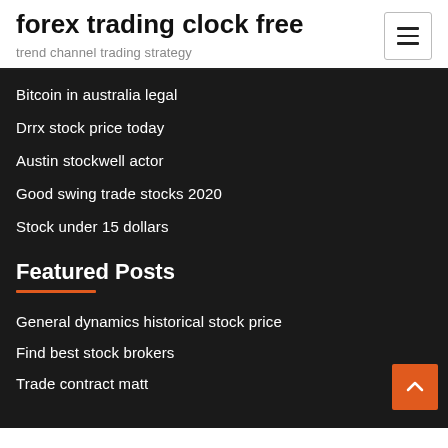forex trading clock free
trend channel trading strategy
Bitcoin in australia legal
Drrx stock price today
Austin stockwell actor
Good swing trade stocks 2020
Stock under 15 dollars
Featured Posts
General dynamics historical stock price
Find best stock brokers
Trade contract matt